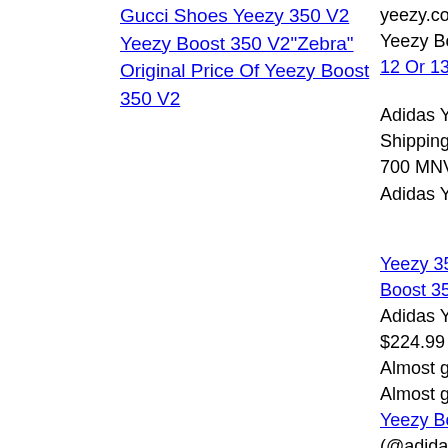Gucci Shoes Yeezy 350 V2
Yeezy Boost 350 V2"Zebra"
Original Price Of Yeezy Boost 350 V2
yeezy.com.co : Ye... Yeezy Boost 380 Y... 12 Or 13 Sizing
Adidas Yeezy Onl... Shipping,Best De... 700 MNVM; Yeez... Adidas Yeezy 700...
Yeezy 350 Slides S... Boost 350 Adidas Y... $224.99 + shipping... Almost gone. Adic... Almost gone . . . . ... Yeezy Boost 750 B... (@adidasbrasil) or... ADIDAS.COM.B... RaffleYeezy 700 'S... Yeezy Slide 'Deser... Main menu. Home... 6 Authentic UA Ye... Tumblr. Customer... shipped with origi... For Mens Women...